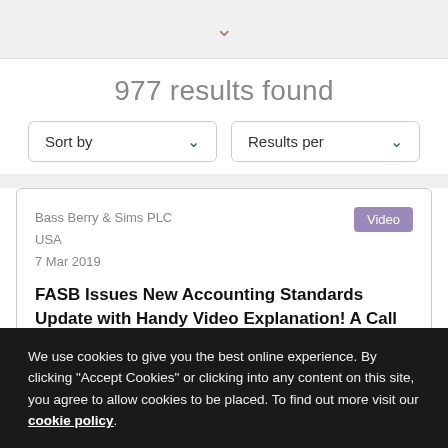[Figure (other): Chevron/dropdown arrow icon in terracotta/salmon color at top of page]
977 results found
Sort by
Results per
Bass Berry & Sims PLC
USA
7 Mar 2019
Video
FASB Issues New Accounting Standards Update with Handy Video Explanation! A Call for SEC Adopting Release Videos?
We use cookies to give you the best online experience. By clicking "Accept Cookies" or clicking into any content on this site, you agree to allow cookies to be placed. To find out more visit our cookie policy.